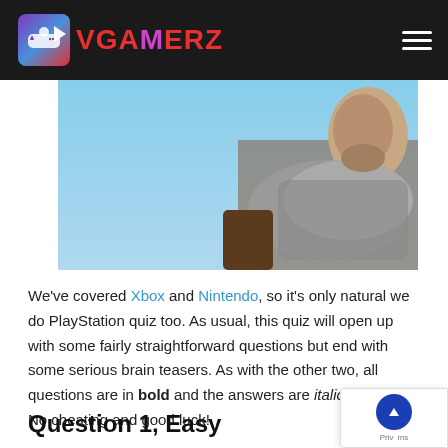VGAMERZ
[Figure (photo): A person wearing a scarf/shemagh looking upward against a blue sky background. Appears to be a video game character screenshot.]
We've covered Xbox and Nintendo, so it's only natural we do PlayStation quiz too. As usual, this quiz will open up with some fairly straightforward questions but end with some serious brain teasers. As with the other two, all questions are in bold and the answers are italicized below. No cheating and good luck!
Question 1, Easy